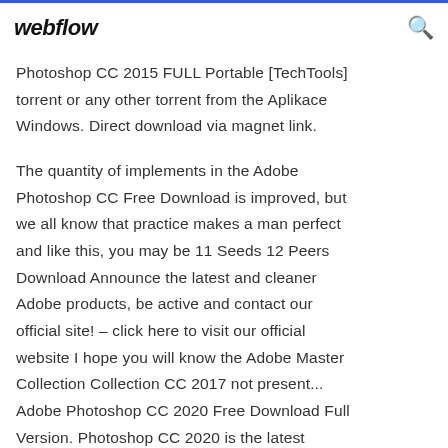webflow
Photoshop CC 2015 FULL Portable [TechTools] torrent or any other torrent from the Aplikace Windows. Direct download via magnet link.
The quantity of implements in the Adobe Photoshop CC Free Download is improved, but we all know that practice makes a man perfect and like this, you may be 11 Seeds 12 Peers Download Announce the latest and cleaner Adobe products, be active and contact our official site! – click here to visit our official website I hope you will know the Adobe Master Collection Collection CC 2017 not present… Adobe Photoshop CC 2020 Free Download Full Version. Photoshop CC 2020 is the latest